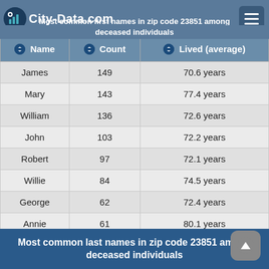City-Data.com
Most common first names in zip code 23851 among deceased individuals
| Name | Count | Lived (average) |
| --- | --- | --- |
| James | 149 | 70.6 years |
| Mary | 143 | 77.4 years |
| William | 136 | 72.6 years |
| John | 103 | 72.2 years |
| Robert | 97 | 72.1 years |
| Willie | 84 | 74.5 years |
| George | 62 | 72.4 years |
| Annie | 61 | 80.1 years |
| Joseph | 53 | 71.5 years |
| Elizabeth | 44 | 76.2 years |
Most common last names in zip code 23851 among deceased individuals